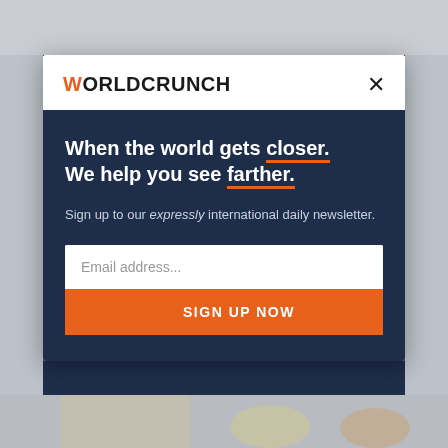[Figure (screenshot): Blurred webpage background with gray and blue tones, showing a WorldCrunch newsletter signup modal overlay]
WORLDCRUNCH
When the world gets closer. We help you see farther.
Sign up to our expressly international daily newsletter.
Email address...
SIGN UP NOW